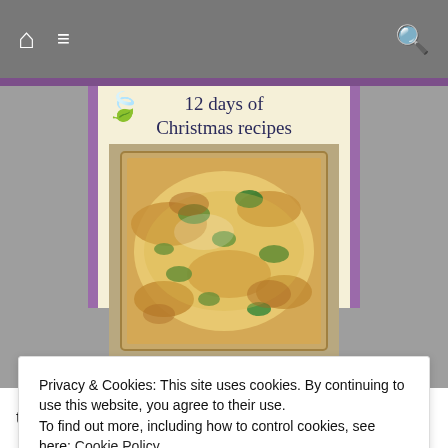Navigation bar with home, menu, and search icons
12 days of Christmas recipes
[Figure (photo): A baked casserole dish with croissants, spinach, cheese and egg — Croissant Brunch Bake photographed from above in a rectangular baking pan]
Croissant Brunch Bake
Privacy & Cookies: This site uses cookies. By continuing to use this website, you agree to their use.
To find out more, including how to control cookies, see here: Cookie Policy
Close and accept
to use them up, in a Savoury Croissant Brunch